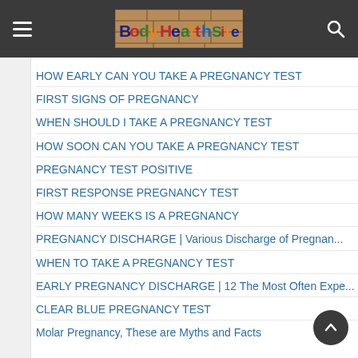Body Health Site
HOW EARLY CAN YOU TAKE A PREGNANCY TEST
FIRST SIGNS OF PREGNANCY
WHEN SHOULD I TAKE A PREGNANCY TEST
HOW SOON CAN YOU TAKE A PREGNANCY TEST
PREGNANCY TEST POSITIVE
FIRST RESPONSE PREGNANCY TEST
HOW MANY WEEKS IS A PREGNANCY
PREGNANCY DISCHARGE | Various Discharge of Pregnan...
WHEN TO TAKE A PREGNANCY TEST
EARLY PREGNANCY DISCHARGE | 12 The Most Often Expe...
CLEAR BLUE PREGNANCY TEST
Molar Pregnancy, These are Myths and Facts